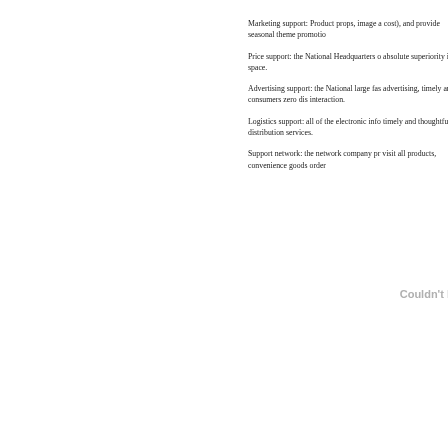Marketing support: Product props, image a cost), and provide seasonal theme promotio
Price support: the National Headquarters o absolute superiority in space.
Advertising support: the National large fas advertising, timely and consumers zero dis interaction.
Logistics support: all of the electronic info timely and thoughtful distribution services.
Support network: the network company pr visit all products, convenience goods order
Couldn't l